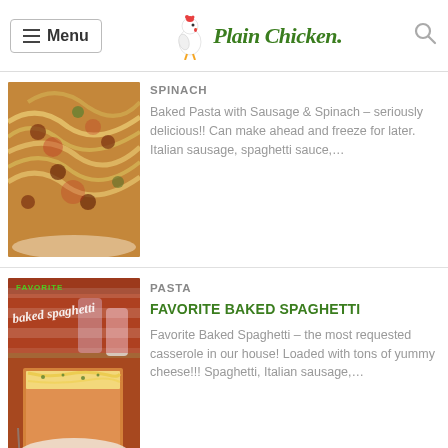Menu | Plain Chicken
[Figure (photo): Baked pasta with sausage and spinach food photo]
SPINACH
Baked Pasta with Sausage & Spinach – seriously delicious!! Can make ahead and freeze for later. Italian sausage, spaghetti sauce,…
[Figure (photo): Favorite baked spaghetti casserole food photo with text overlay]
PASTA
FAVORITE BAKED SPAGHETTI
Favorite Baked Spaghetti – the most requested casserole in our house! Loaded with tons of yummy cheese!!! Spaghetti, Italian sausage,…
[Figure (photo): Instant Pot cream cheese spaghetti food photo with text overlay]
INSTANT POT
INSTANT POT CREAM CHEESE